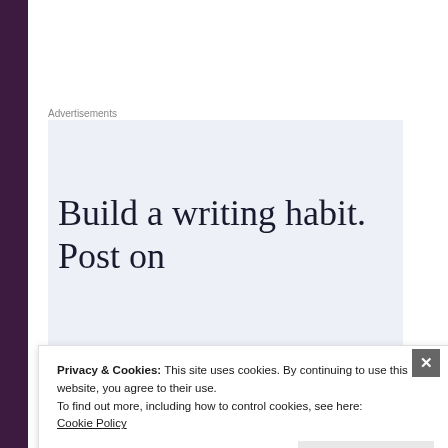Advertisements
[Figure (other): Advertisement box with light blue-grey background containing text 'Build a writing habit. Post on']
day and night.
Privacy & Cookies: This site uses cookies. By continuing to use this website, you agree to their use.
To find out more, including how to control cookies, see here:
Cookie Policy
Close and accept